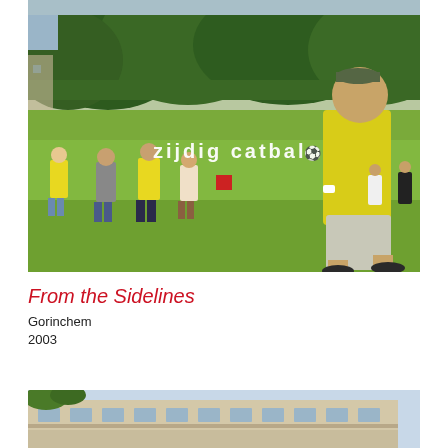[Figure (photo): Outdoor sports scene on a grass field with people in yellow t-shirts playing football/soccer. Trees in background. Text overlay reads 'zijdig catbal'. A tall person in yellow shirt and grey shorts is prominent in the foreground right.]
From the Sidelines
Gorinchem
2003
[Figure (photo): Partial view of a multi-storey residential or apartment building with windows and a balcony, some green foliage in the top left corner, blue sky visible.]